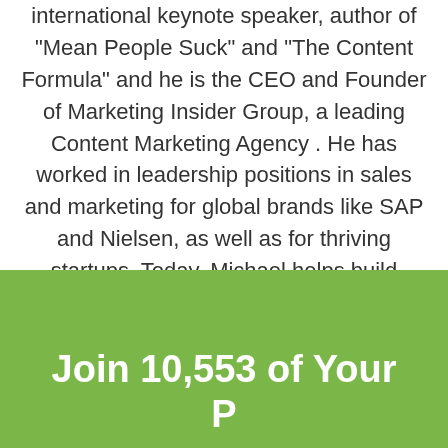international keynote speaker, author of "Mean People Suck" and "The Content Formula" and he is the CEO and Founder of Marketing Insider Group, a leading Content Marketing Agency . He has worked in leadership positions in sales and marketing for global brands like SAP and Nielsen, as well as for thriving startups. Today, Michael helps build successful content marketing programs for leading brands and startups alike. Subscribe here for regular updates.
Join 10,553 of Your P...